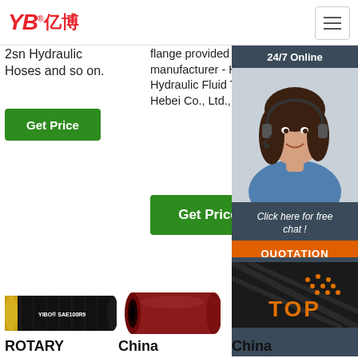[Figure (logo): YB 亿博 logo in red with registered trademark symbol]
[Figure (other): Hamburger menu icon button]
2sn Hydraulic Hoses and so on.
Get Price
flange provided by China manufacturer - Hengyu Group Hydraulic Fluid Technology Hebei Co., Ltd., page1.
Get Price
[Figure (photo): 24/7 Online customer support panel with woman wearing headset, 'Click here for free chat!' text, and QUOTATION button]
[Figure (photo): Black hydraulic hose with gold fitting, labeled YIBO SAE100R9]
[Figure (photo): Red/maroon hydraulic hose end cap]
[Figure (photo): Black hydraulic hose with TOP branding and orange dot pattern]
ROTARY
China
China